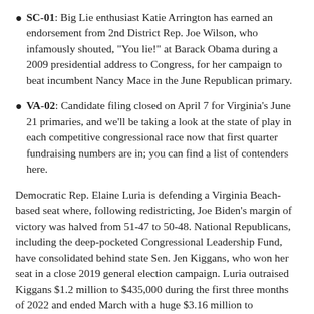SC-01: Big Lie enthusiast Katie Arrington has earned an endorsement from 2nd District Rep. Joe Wilson, who infamously shouted, "You lie!" at Barack Obama during a 2009 presidential address to Congress, for her campaign to beat incumbent Nancy Mace in the June Republican primary.
VA-02: Candidate filing closed on April 7 for Virginia's June 21 primaries, and we'll be taking a look at the state of play in each competitive congressional race now that first quarter fundraising numbers are in; you can find a list of contenders here.
Democratic Rep. Elaine Luria is defending a Virginia Beach-based seat where, following redistricting, Joe Biden's margin of victory was halved from 51-47 to 50-48. National Republicans, including the deep-pocketed Congressional Leadership Fund, have consolidated behind state Sen. Jen Kiggans, who won her seat in a close 2019 general election campaign. Luria outraised Kiggans $1.2 million to $435,000 during the first three months of 2022 and ended March with a huge $3.16 million to $593,000 cash-on-hand.
Before she can go up against Luria, Kiggans needs to get past high school football coach Jarome Bell, a Big Lie fanatic who has the backing of 5th District Rep. Bob Good. Bell has drawn some attention in...